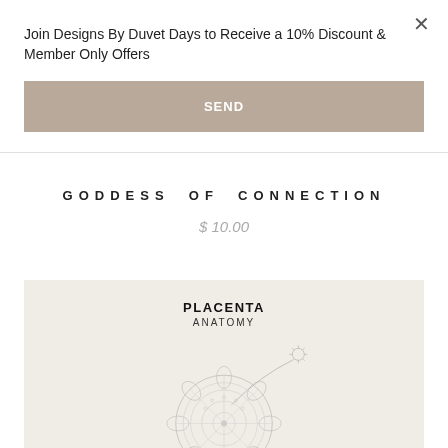Join Designs By Duvet Days to Receive a 10% Discount & Member Only Offers
SEND
GODDESS OF CONNECTION
$ 10.00
[Figure (illustration): Product image showing 'PLACENTA ANATOMY' text above a detailed botanical/anatomical line drawing illustration of a placenta on a warm beige background]